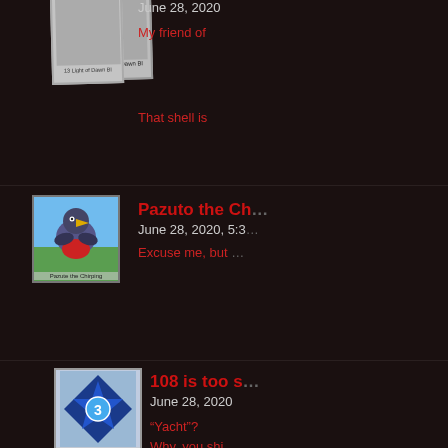[Figure (photo): Polaroid-style avatar placeholder for user '13 Light of Dawn Bl']
June 28, 2020
My friend of
That shell is
[Figure (photo): Bird avatar for Pazuto the Chirping]
Pazuto the Ch...
June 28, 2020, 5:3...
Excuse me, but ...
[Figure (photo): Blue badge/diamond avatar for '108 is too squared']
108 is too s...
June 28, 2020
“Yacht”?
Why, you shi...
[Figure (photo): Polaroid-style avatar placeholder for Arkhierei]
Arkhierei
June 30, 2020, 1:5...
There is no sha... most desired str...
Though, more se... carries somethin...
[Figure (photo): Polaroid-style avatar placeholder for Sister of the Fading F...]
Sister of the Fading F...
June 27, 2020, 10:24 pm | # | Re...
A man who cannot see that ev...